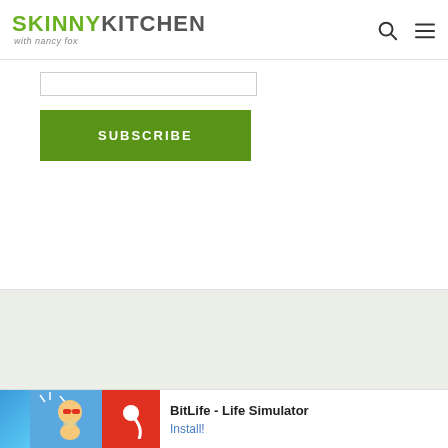SKINNY KITCHEN with nancy fox
[Figure (screenshot): Email input field (text box) for newsletter subscription]
SUBSCRIBE
[Figure (screenshot): Gray/beige background section, empty content area]
[Figure (screenshot): Ad banner: BitLife - Life Simulator with Install button]